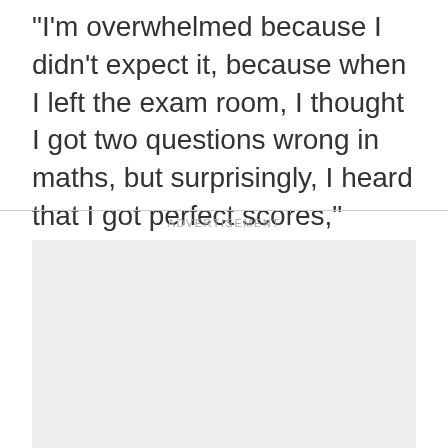"I'm overwhelmed because I didn't expect it, because when I left the exam room, I thought I got two questions wrong in maths, but surprisingly, I heard that I got perfect scores," Bogle said.
ADVERTISEMENT